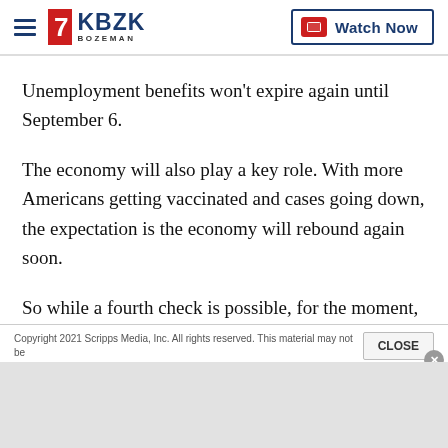KBZK Bozeman — Watch Now
Unemployment benefits won't expire again until September 6.
The economy will also play a key role. With more Americans getting vaccinated and cases going down, the expectation is the economy will rebound again soon.
So while a fourth check is possible, for the moment, it isn't likely.
Copyright 2021 Scripps Media, Inc. All rights reserved. This material may not be